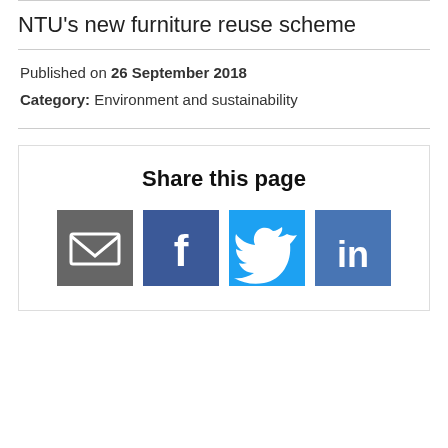NTU's new furniture reuse scheme
Published on 26 September 2018
Category: Environment and sustainability
Share this page
[Figure (infographic): Social sharing icons: email, Facebook, Twitter, LinkedIn]